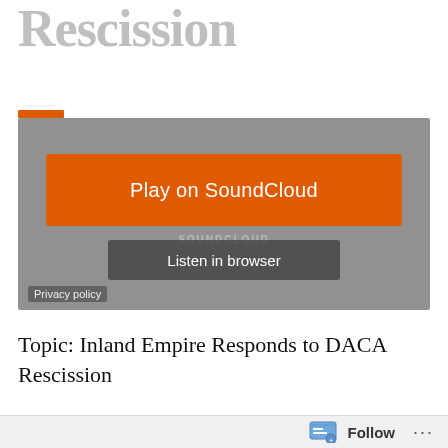Rescission
[Figure (screenshot): SoundCloud embedded audio player widget showing a 'Play on SoundCloud' orange button and 'Listen in browser' button on a grey background, with 'Privacy policy' link in bottom left corner.]
Topic: Inland Empire Responds to DACA Rescission
Follow ...